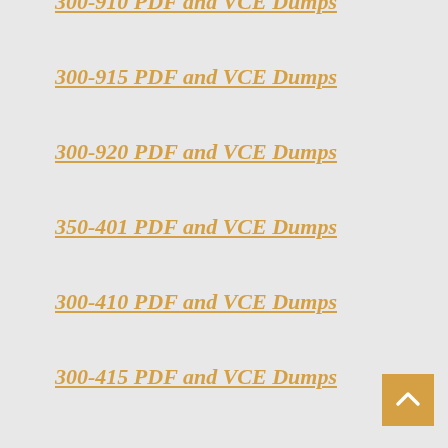300-910 PDF and VCE Dumps
300-915 PDF and VCE Dumps
300-920 PDF and VCE Dumps
350-401 PDF and VCE Dumps
300-410 PDF and VCE Dumps
300-415 PDF and VCE Dumps
300-420 PDF and VCE Dumps
300-425 PDF and VCE Dumps
300-430 PDF and VCE Dumps
300-435 PDF and VCE Dumps
350-401 PDF and VCE Dumps